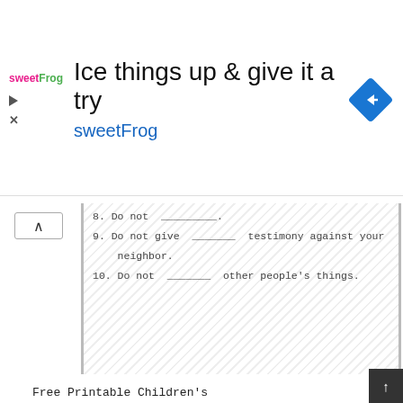[Figure (screenshot): Advertisement banner for sweetFrog frozen yogurt with logo, headline 'Ice things up & give it a try', brand name 'sweetFrog', and a blue diamond navigation icon]
[Figure (screenshot): Partial worksheet image showing items 8, 9, and 10: '8. Do not _________.', '9. Do not give _______ testimony against your neighbor.', '10. Do not _______ other people's things.' with a chevron/collapse button and diagonal striped border]
Free Printable Children's
Popular Posts
[Figure (screenshot): Handwritten-style letter starting with 'dear abby' describing adventures in the dry namib desert rainy season]